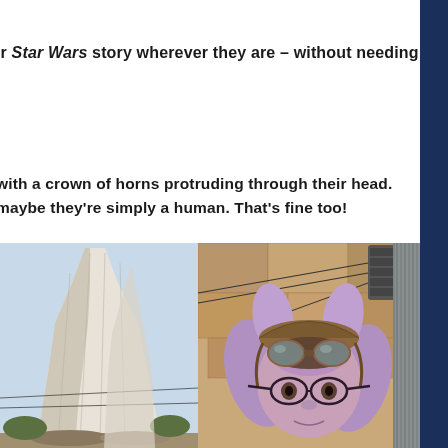ir Star Wars story wherever they are – without needing
with a crown of horns protruding through their head.
maybe they're simply a human. That's fine too!
[Figure (photo): Left: tall white rocky spire formation (Galaxy's Edge landmark) against blue sky. Right: person wearing purple Twi'lek alien headpiece with lekku horns and brown pilot goggles, standing in front of rocky stone wall with industrial elements.]